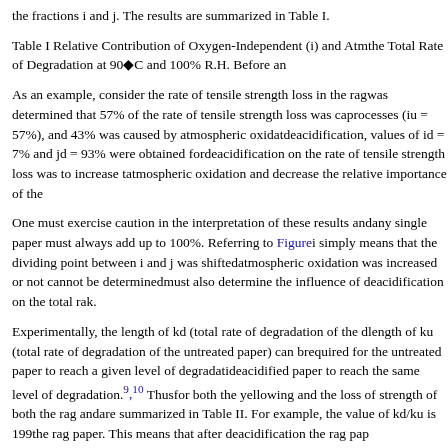the fractions i and j. The results are summarized in Table I.
Table I Relative Contribution of Oxygen-Independent (i) and Atm... the Total Rate of Degradation at 90°C and 100% R.H. Before an...
As an example, consider the rate of tensile strength loss in the rag... was determined that 57% of the rate of tensile strength loss was ca... processes (iu = 57%), and 43% was caused by atmospheric oxida... deacidification, values of id = 7% and jd = 93% were obtained fo... deacidification on the rate of tensile strength loss was to increase t... atmospheric oxidation and decrease the relative importance of the...
One must exercise caution in the interpretation of these results an... any single paper must always add up to 100%. Referring to Figure... i simply means that the dividing point between i and j was shifted... atmospheric oxidation was increased or not cannot be determined... must also determine the influence of deacidification on the total ra... k.
Experimentally, the length of kd (total rate of degradation of the d... length of ku (total rate of degradation of the untreated paper) can b... required for the untreated paper to reach a given level of degradati... deacidified paper to reach the same level of degradation.9,10 Thus... for both the yellowing and the loss of strength of both the rag and... are summarized in Table II. For example, the value of kd/ku is 199... the rag paper. This means that after deacidification the rag pap...